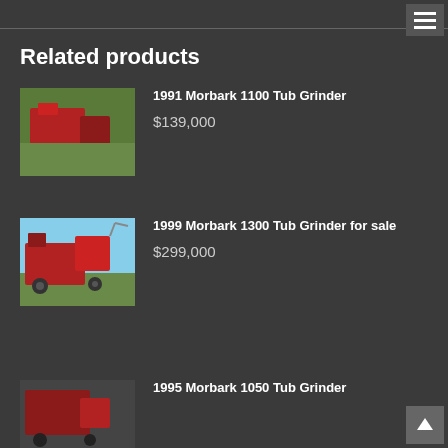Related products
1991 Morbark 1100 Tub Grinder
$139,000
1999 Morbark 1300 Tub Grinder for sale
$299,000
1995 Morbark 1050 Tub Grinder